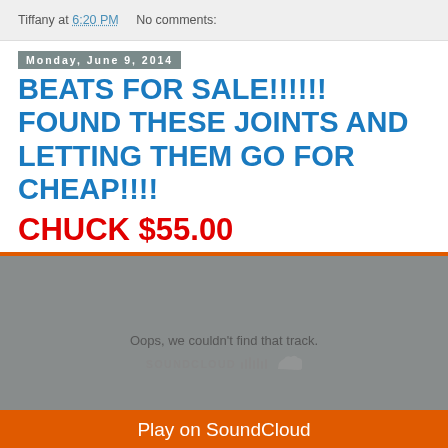Tiffany at 6:20 PM   No comments:
Monday, June 9, 2014
BEATS FOR SALE!!!!!! FOUND THESE JOINTS AND LETTING THEM GO FOR CHEAP!!!!
CHUCK $55.00
[Figure (screenshot): SoundCloud embedded player showing error: Oops, we couldn't find that track. SOUNDCLOUD logo and Play on SoundCloud button.]